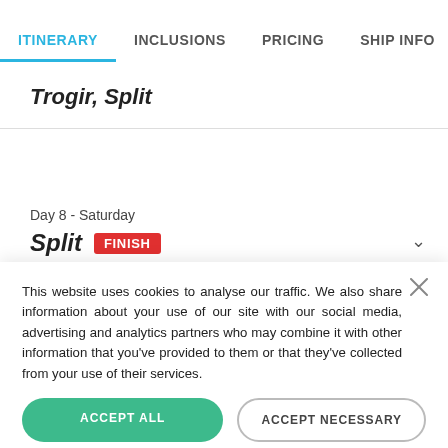ITINERARY | INCLUSIONS | PRICING | SHIP INFO
Trogir, Split
Day 8 - Saturday
Split  FINISH
This website uses cookies to analyse our traffic. We also share information about your use of our site with our social media, advertising and analytics partners who may combine it with other information that you've provided to them or that they've collected from your use of their services.
ACCEPT ALL
ACCEPT NECESSARY